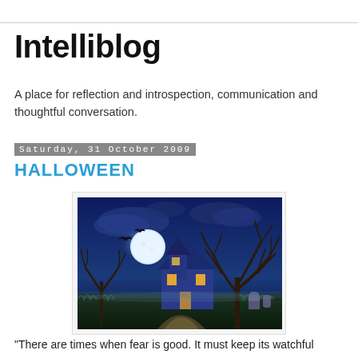Intelliblog
A place for reflection and introspection, communication and thoughtful conversation.
Saturday, 31 October 2009
HALLOWEEN
[Figure (illustration): Halloween night scene illustration: haunted house with glowing windows, large bare tree, full moon, bats in the sky, gravestones, and a winding path under a dark blue night sky.]
“There are times when fear is good. It must keep its watchful